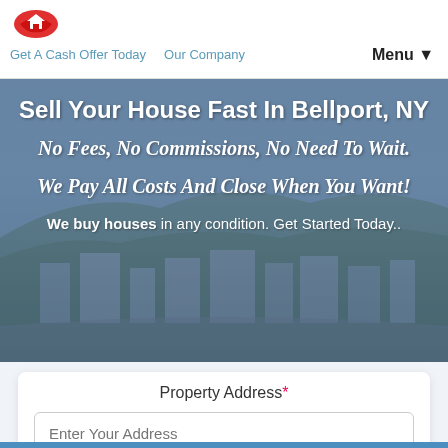[Figure (logo): Red house/lips logo icon for a home buying company]
Get A Cash Offer Today   Our Company   Menu ▼
Sell Your House Fast In Bellport, NY
No Fees, No Commissions, No Need To Wait.
We Pay All Costs And Close When You Want!
We buy houses in any condition. Get Started Today..
Property Address*
Enter Your Address